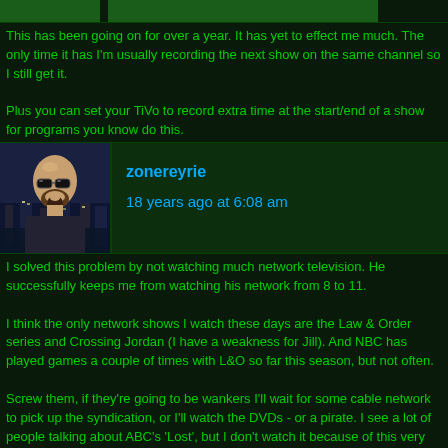This has been going on for over a year. It has yet to effect me much. The only time it has I'm usually recording the next show on the same channel so I still get it.

Plus you can set your TiVo to record extra time at the start/end of a show for programs you know do this.
[Figure (photo): Avatar of user zonereyrie - bald man with sunglasses and beard against night city backdrop]
zonereyrie
18 years ago at 6:08 am
I solved this problem by not watching much network television. He successfully keeps me from watching his network from 8 to 11.

I think the only network shows I watch these days are the Law & Order series and Crossing Jordan (I have a weakness for Jill). And NBC has played games a couple of times with L&O so far this season, but not often.

Screw them, if they're going to be wankers I'll wait for some cable network to pick up the syndication, or I'll watch the DVDs - or a pirate. I see a lot of people talking about ABC's 'Lost', but I don't watch it because of this very reason. Plenty of other things to watch - especially with TiVo.
[Figure (logo): Avatar/logo for user yekop]
yekop